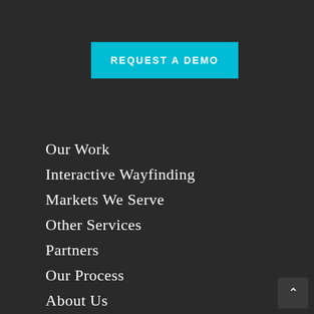REQUEST A DEMO
Our Work
Interactive Wayfinding
Markets We Serve
Other Services
Partners
Our Process
About Us
FAQs
Contact Us